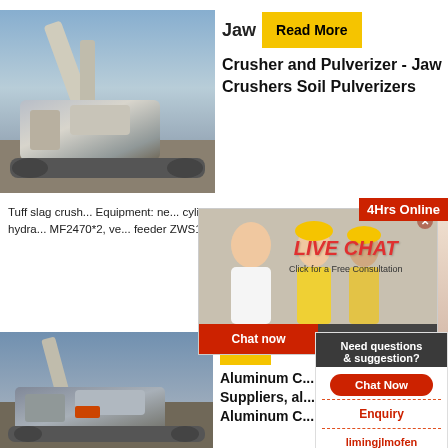[Figure (photo): Industrial jaw crusher / mining machinery on construction site]
Jaw
Read More
Crusher and Pulverizer - Jaw Crushers Soil Pulverizers
Tuff slag crush... Equipment: ne... cylinder hydra... MF2470*2, ve... feeder ZWS11...
[Figure (photo): Live Chat popup with person in hard hat and customer service agent with headset. Text: LIVE CHAT, Click for a Free Consultation]
4Hrs Online
Chat now
Chat later
[Figure (photo): Second industrial machine / excavator with crusher attachment]
Re...
Aluminum C... Suppliers, al... Aluminum C...
Need questions & suggestion?
Chat Now
Enquiry
limingjlmofen